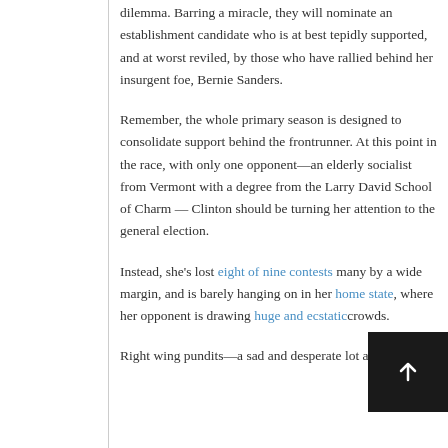dilemma. Barring a miracle, they will nominate an establishment candidate who is at best tepidly supported, and at worst reviled, by those who have rallied behind her insurgent foe, Bernie Sanders.
Remember, the whole primary season is designed to consolidate support behind the frontrunner. At this point in the race, with only one opponent—an elderly socialist from Vermont with a degree from the Larry David School of Charm — Clinton should be turning her attention to the general election.
Instead, she's lost eight of nine contests many by a wide margin, and is barely hanging on in her home state, where her opponent is drawing huge and ecstatic crowds.
Right wing pundits—a sad and desperate lot at the